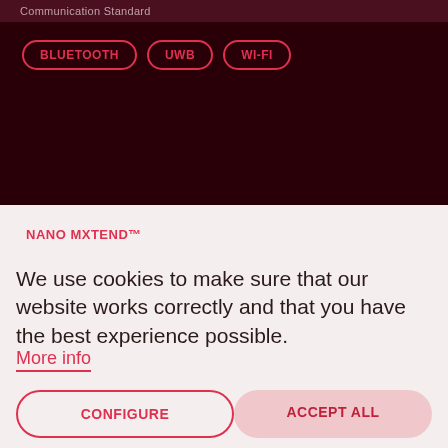Communication Standard
BLUETOOTH
UWB
WI-FI
NANO MXTEND™
We use cookies to make sure that our website works correctly and that you have the best experience possible.
More info